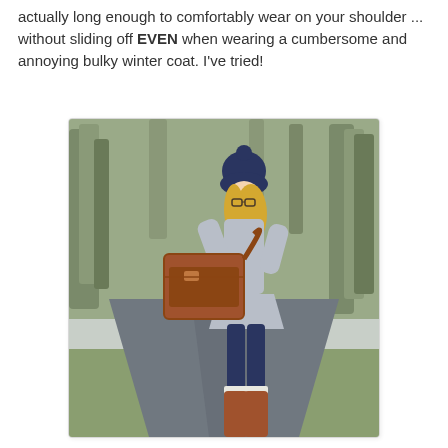actually long enough to comfortably wear on your shoulder ... without sliding off EVEN when wearing a cumbersome and annoying bulky winter coat. I've tried!
[Figure (photo): A woman standing outdoors on a path wearing a grey dress, navy leggings, tall brown boots, and a navy pom-pom beanie hat with glasses, holding a large brown leather messenger bag/satchel. Trees are visible in the background during winter/autumn season.]